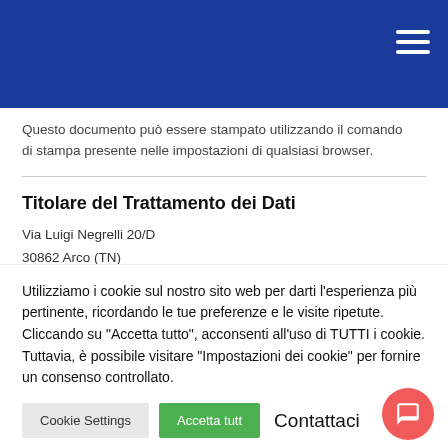Questo documento può essere stampato utilizzando il comando di stampa presente nelle impostazioni di qualsiasi browser.
Titolare del Trattamento dei Dati
Via Luigi Negrelli 20/D
30862 Arco (TN)
Indirizzo email del Titolare: info@farmaciavenezian.it
Utilizziamo i cookie sul nostro sito web per darti l'esperienza più pertinente, ricordando le tue preferenze e le visite ripetute. Cliccando su "Accetta tutto", acconsenti all'uso di TUTTI i cookie. Tuttavia, è possibile visitare "Impostazioni dei cookie" per fornire un consenso controllato.